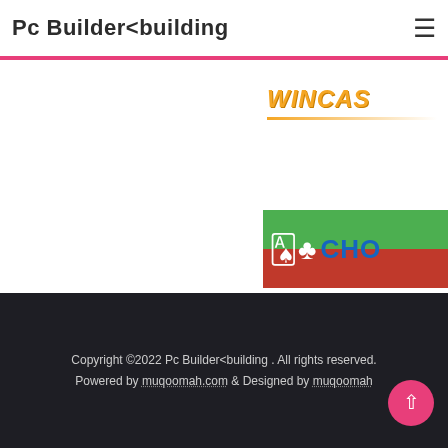Pc Builder<building
[Figure (screenshot): WINCAS advertisement banner with orange text and orange underline on white background]
[Figure (screenshot): CHO casino advertisement with playing cards icon on green/red background]
[Figure (screenshot): OCT CASINO.CO advertisement on purple background with white and red text]
[Figure (screenshot): Theking advertisement banner with orange italic text on colorful background]
Copyright ©2022 Pc Builder<building . All rights reserved. Powered by muqoomah.com & Designed by muqoomah